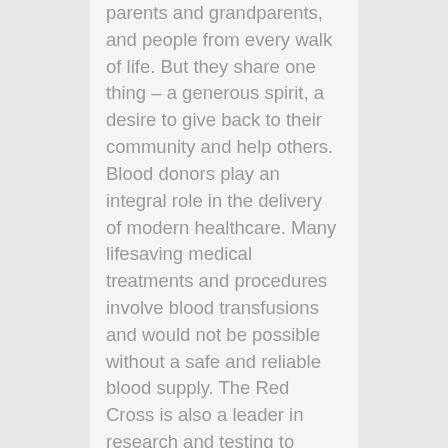parents and grandparents, and people from every walk of life. But they share one thing – a generous spirit, a desire to give back to their community and help others. Blood donors play an integral role in the delivery of modern healthcare. Many lifesaving medical treatments and procedures involve blood transfusions and would not be possible without a safe and reliable blood supply. The Red Cross is also a leader in research and testing to